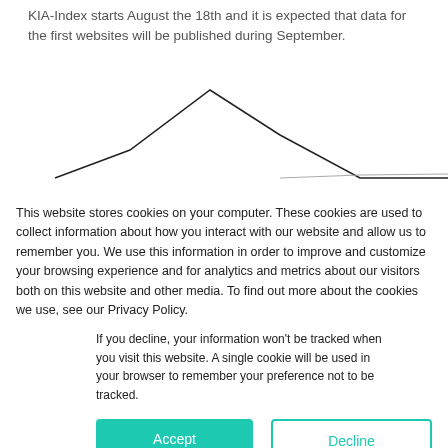KIA-Index starts August the 18th and it is expected that data for the first websites will be published during September.
[Figure (line-chart): Partial line chart visible behind cookie consent banner, showing a peaked line shape]
This website stores cookies on your computer. These cookies are used to collect information about how you interact with our website and allow us to remember you. We use this information in order to improve and customize your browsing experience and for analytics and metrics about our visitors both on this website and other media. To find out more about the cookies we use, see our Privacy Policy.
If you decline, your information won't be tracked when you visit this website. A single cookie will be used in your browser to remember your preference not to be tracked.
Accept
Decline